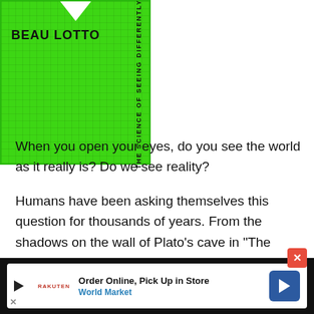[Figure (illustration): Book cover of a book by Beau Lotto. Bright green background with grid pattern, white notch at top center, bold black author name 'BEAU LOTTO', and vertical spine text reading 'THE SCIENCE OF SEEING DIFFERENTLY']
When you open your eyes, do you see the world as it really is? Do we see reality?
Humans have been asking themselves this question for thousands of years. From the shadows on the wall of Plato's cave in "The Republic" to Morpheus offering Neo the red pill or the blue bill in "The Matrix," the notion that what we see might not be what is truly the
[Figure (screenshot): Advertisement bar at bottom: black background with white rounded rectangle containing a play button, Rakuten logo, text 'Order Online, Pick Up in Store' and 'World Market' in blue, and a blue navigation arrow icon. Red close button (X) on upper right.]